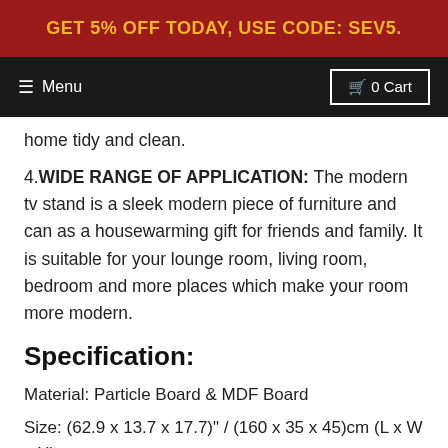GET 5% OFF TODAY, USE CODE: SEV5.
Menu  0 Cart
home tidy and clean.
4.WIDE RANGE OF APPLICATION: The modern tv stand is a sleek modern piece of furniture and can as a housewarming gift for friends and family. It is suitable for your lounge room, living room, bedroom and more places which make your room more modern.
Specification:
Material: Particle Board & MDF Board
Size: (62.9 x 13.7 x 17.7)" / (160 x 35 x 45)cm (L x W x H)